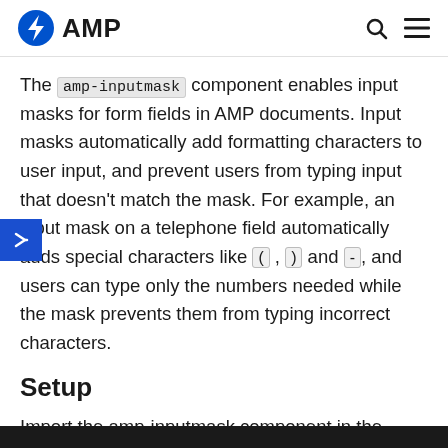AMP
The amp-inputmask component enables input masks for form fields in AMP documents. Input masks automatically add formatting characters to user input, and prevent users from typing input that doesn't match the mask. For example, an input mask on a telephone field automatically adds special characters like ( , ) and - , and users can type only the numbers needed while the mask prevents them from typing incorrect characters.
Setup
Import the amp-inputmask component in the header